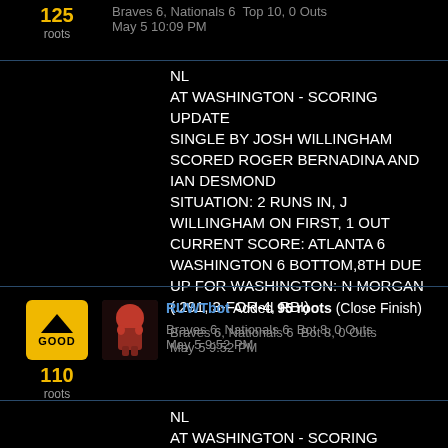125 roots
Braves 6, Nationals 6  Top 10, 0 Outs
May 5 10:09 PM
NL
AT WASHINGTON - SCORING UPDATE
SINGLE BY JOSH WILLINGHAM SCORED ROGER BERNADINA AND IAN DESMOND
SITUATION: 2 RUNS IN, J WILLINGHAM ON FIRST, 1 OUT CURRENT SCORE: ATLANTA 6 WASHINGTON 6 BOTTOM,8TH DUE UP FOR WASHINGTON: N MORGAN (.291, 3-FOR-4, RBI)
Braves 6, Nationals 6  Bot 8, 0 Outs
May 5 9:52 PM
RUWTbot Added 95 roots (Close Finish)
110 roots
Braves 6, Nationals 6  Bot 8, 0 Outs
May 5 9:52 PM
NL
AT WASHINGTON - SCORING